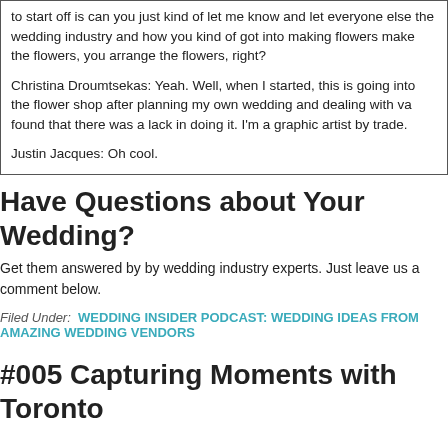to start off is can you just kind of let me know and let everyone else the wedding industry and how you kind of got into making flowers make the flowers, you arrange the flowers, right?
Christina Droumtsekas: Yeah. Well, when I started, this is going into the flower shop after planning my own wedding and dealing with va found that there was a lack in doing it. I'm a graphic artist by trade.
Justin Jacques: Oh cool.
Have Questions about Your Wedding?
Get them answered by by wedding industry experts. Just leave us a comment below.
Filed Under: WEDDING INSIDER PODCAST: WEDDING IDEAS FROM AMAZING WEDDING VENDORS
#005 Capturing Moments with Toronto